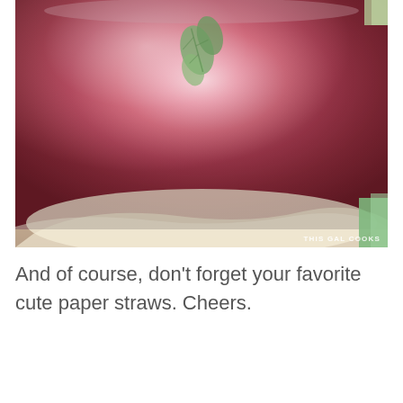[Figure (photo): Close-up photograph of a pink drink in a mason jar with mint leaves inside, sitting on crumpled parchment paper on a wooden surface. Watermark reads 'THIS GAL COOKS'. Green paper straws visible at edges.]
And of course, don't forget your favorite cute paper straws. Cheers.